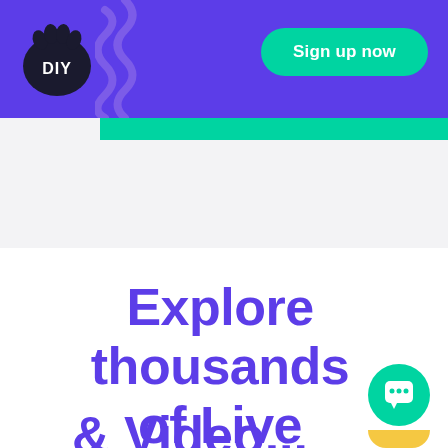[Figure (logo): DIY logo — stylized paw/flame mark with 'DIY' text in dark circle, top left of purple header bar]
[Figure (illustration): Purple squiggly/wavy line decoration next to DIY logo in header]
Sign up now
[Figure (infographic): Teal/green rounded rectangle block overlapping bottom of purple header and top of gray area]
Explore thousands of Live
& Video...
[Figure (illustration): Teal circular chat/messenger icon with white smiley face, bottom right corner]
[Figure (illustration): Yellow arc shape partially visible below chat icon at very bottom right]